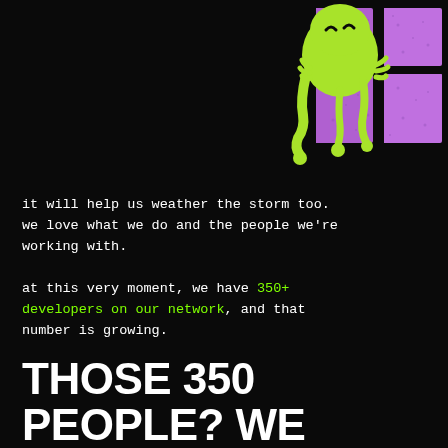[Figure (illustration): A cartoon green slime or blob character peeking through a purple window frame against a black background, with dripping tendrils and simple face features.]
it will help us weather the storm too.
we love what we do and the people we're
working with.

at this very moment, we have 350+
developers on our network, and that
number is growing.
THOSE 350 PEOPLE? WE